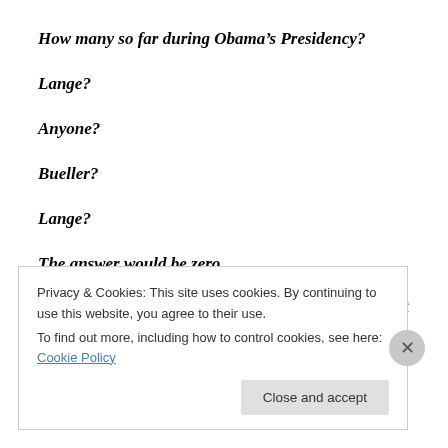How many so far during Obama’s Presidency?
Lange?
Anyone?
Bueller?
Lange?
The answer would be zero.
Your claim was an unsubstantiated lie in 2009, and it
Privacy & Cookies: This site uses cookies. By continuing to use this website, you agree to their use. To find out more, including how to control cookies, see here: Cookie Policy